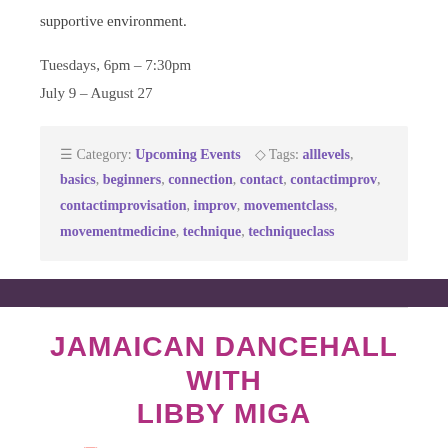supportive environment.
Tuesdays, 6pm – 7:30pm
July 9 – August 27
Category: Upcoming Events   Tags: alllevels, basics, beginners, connection, contact, contactimprov, contactimprovisation, improv, movementclass, movementmedicine, technique, techniqueclass
JAMAICAN DANCEHALL WITH LIBBY MIGA
Posted on June 13, 2019 by the418project
Leave a Comment
[Figure (photo): Banner image for Jamaican Dancehall event with text 'WINE YUH WAIST & JUK' on blue background]